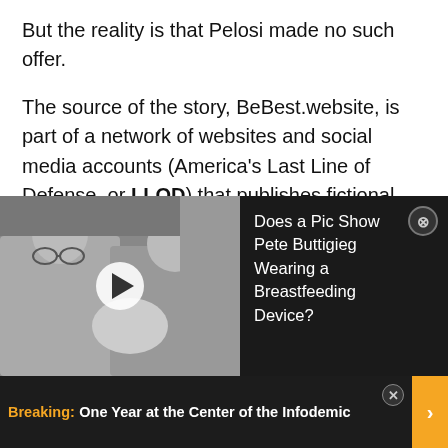But the reality is that Pelosi made no such offer. The source of the story, BeBest.website, is part of a network of websites and social media accounts (America's Last Line of Defense, or LLOD) that publishes fictional, politically divisive content under the rubric of "satire."
A disclaimer on all LLOD sites, including BeBest.website, states the following:
[Figure (photo): Black and white photo of two men holding a baby, with a video play button overlay]
Does a Pic Show Pete Buttigieg Wearing a Breastfeeding Device?
[Figure (infographic): Advertisement banner: Breaking: One Year at the Center of the Infodemic]